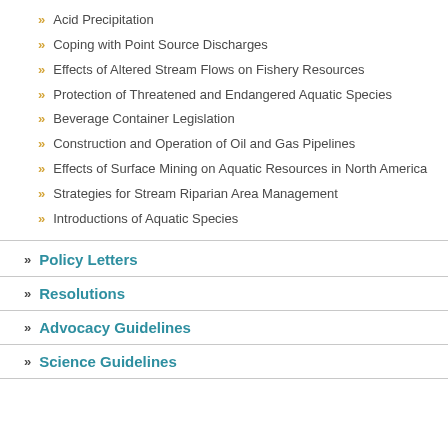Acid Precipitation
Coping with Point Source Discharges
Effects of Altered Stream Flows on Fishery Resources
Protection of Threatened and Endangered Aquatic Species
Beverage Container Legislation
Construction and Operation of Oil and Gas Pipelines
Effects of Surface Mining on Aquatic Resources in North America
Strategies for Stream Riparian Area Management
Introductions of Aquatic Species
Policy Letters
Resolutions
Advocacy Guidelines
Science Guidelines